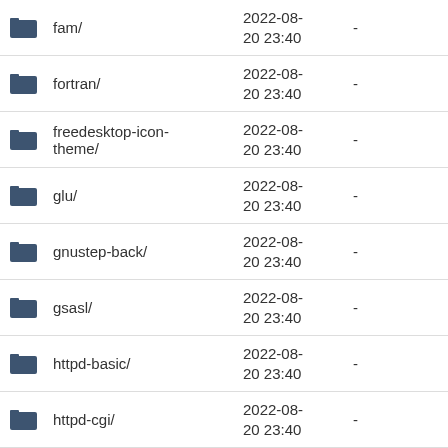fam/ 2022-08-20 23:40 -
fortran/ 2022-08-20 23:40 -
freedesktop-icon-theme/ 2022-08-20 23:40 -
glu/ 2022-08-20 23:40 -
gnustep-back/ 2022-08-20 23:40 -
gsasl/ 2022-08-20 23:40 -
httpd-basic/ 2022-08-20 23:40 -
httpd-cgi/ 2022-08-20 23:40 -